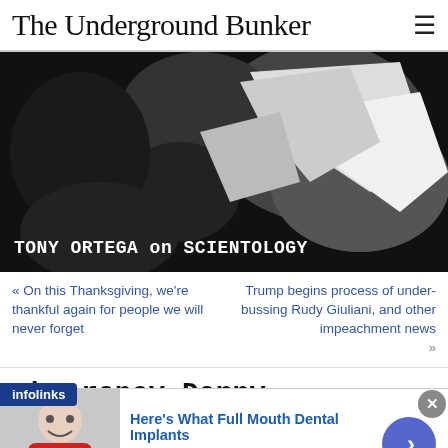The Underground Bunker
[Figure (photo): Black and white photo with text overlay reading 'TONY ORTEGA on SCIENTOLOGY']
« On this Thanksgiving, we're thankful again for people we will never forget
Trump begins process of under-bussing Rudy Giuliani, and other impeachment news »
The rapey Danny Masterson movie clip
[Figure (infographic): Infolinks ad banner: 'Here's What Full Mouth Dental Implants' n/a pr.implantdentalservicesus.com with photo of young boy and blue arrow button]